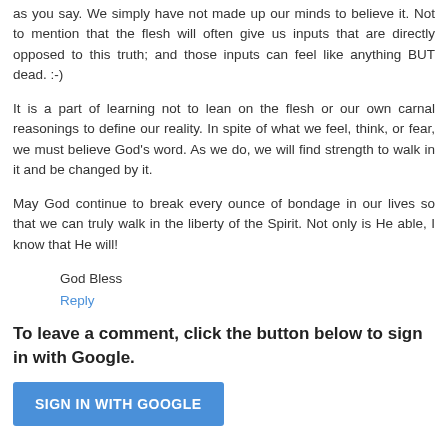as you say. We simply have not made up our minds to believe it. Not to mention that the flesh will often give us inputs that are directly opposed to this truth; and those inputs can feel like anything BUT dead. :-)
It is a part of learning not to lean on the flesh or our own carnal reasonings to define our reality. In spite of what we feel, think, or fear, we must believe God's word. As we do, we will find strength to walk in it and be changed by it.
May God continue to break every ounce of bondage in our lives so that we can truly walk in the liberty of the Spirit. Not only is He able, I know that He will!
God Bless
Reply
To leave a comment, click the button below to sign in with Google.
SIGN IN WITH GOOGLE